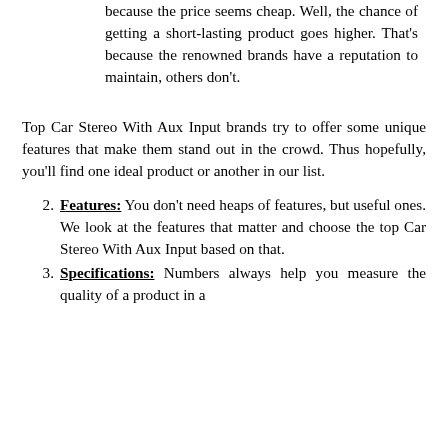because the price seems cheap. Well, the chance of getting a short-lasting product goes higher. That's because the renowned brands have a reputation to maintain, others don't.
Top Car Stereo With Aux Input brands try to offer some unique features that make them stand out in the crowd. Thus hopefully, you'll find one ideal product or another in our list.
Features: You don't need heaps of features, but useful ones. We look at the features that matter and choose the top Car Stereo With Aux Input based on that.
Specifications: Numbers always help you measure the quality of a product in a